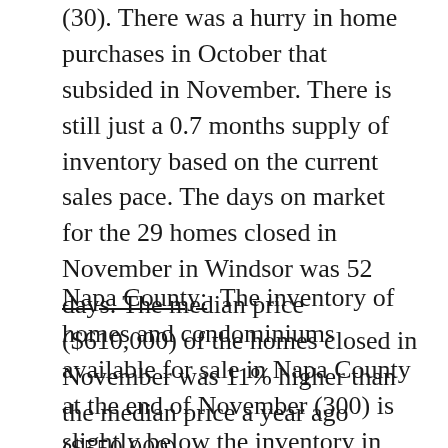(30). There was a hurry in home purchases in October that subsided in November. There is still just a 0.7 months supply of inventory based on the current sales pace. The days on market for the 29 homes closed in November in Windsor was 52 days. The median price ($610,000) of the homes closed in November was 11% higher than the median price a year ago ($550,000).
Napa County: The inventory of homes and condominiums available for sale in Napa County at the end of November (300) is slightly below the inventory in November 2016 (306) and it is 6% below the inventory last month (318). New sales (108) were 6% ahead of the pace of last year (102) and 7% below the pace of last month (116). There is a 2.8 months supply of inventory based on the current sales pace – trending towards a balanced market. The